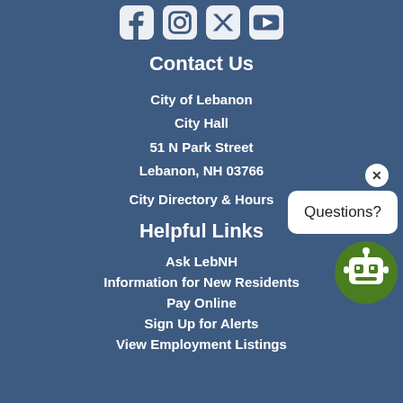[Figure (illustration): Social media icons row: Facebook, Instagram, Twitter, YouTube — white icons on blue background]
Contact Us
City of Lebanon
City Hall
51 N Park Street
Lebanon, NH 03766
City Directory & Hours
Helpful Links
Ask LebNH
Information for New Residents
Pay Online
Sign Up for Alerts
View Employment Listings
[Figure (illustration): Chatbot widget: white speech bubble with 'Questions?' text and a green robot icon with a close (x) button]